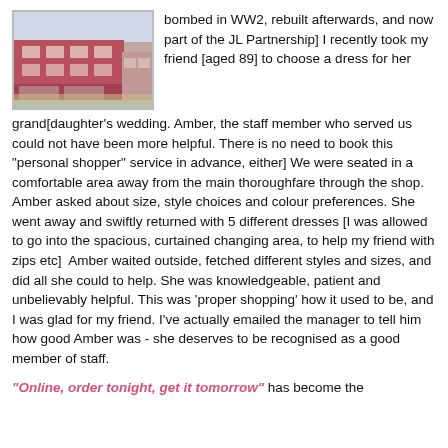[Figure (photo): Exterior photo of a brick building storefront, likely a John Lewis Partnership store, with red/pink facade and a corner view.]
bombed in WW2, rebuilt afterwards, and now part of the JL Partnership] I recently took my friend [aged 89] to choose a dress for her grand[daughter's wedding. Amber, the staff member who served us could not have been more helpful. There is no need to book this "personal shopper" service in advance, either] We were seated in a comfortable area away from the main thoroughfare through the shop. Amber asked about size, style choices and colour preferences. She went away and swiftly returned with 5 different dresses [I was allowed to go into the spacious, curtained changing area, to help my friend with zips etc]  Amber waited outside, fetched different styles and sizes, and did all she could to help. She was knowledgeable, patient and unbelievably helpful. This was 'proper shopping' how it used to be, and I was glad for my friend. I've actually emailed the manager to tell him how good Amber was - she deserves to be recognised as a good member of staff.
"Online, order tonight, get it tomorrow" has become the